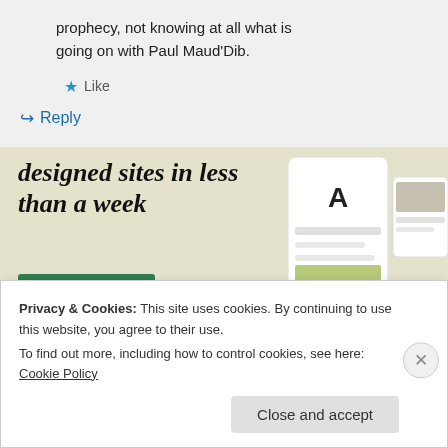prophecy, not knowing at all what is going on with Paul Maud'Dib.
★ Like
↳ Reply
[Figure (screenshot): Advertisement banner with italic serif text 'designed sites in less than a week', a green 'Explore options' button, and a mockup of website designs on the right side. Background is a pale beige/cream color.]
Privacy & Cookies: This site uses cookies. By continuing to use this website, you agree to their use.
To find out more, including how to control cookies, see here: Cookie Policy
Close and accept